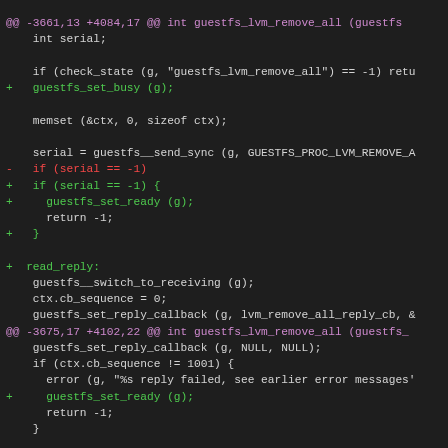Code diff showing changes to guestfs_lvm_remove_all function including additions of guestfs_set_busy, guestfs_set_ready calls and control flow changes.